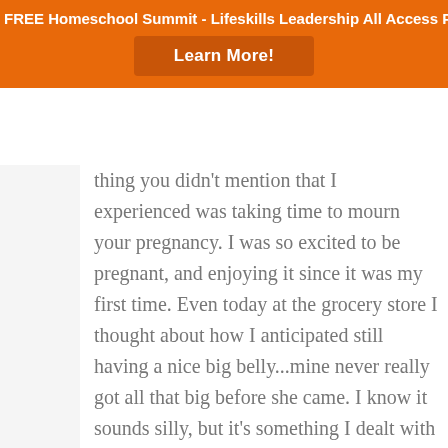FREE Homeschool Summit - Lifeskills Leadership All Access Pass
Learn More!
thing you didn't mention that I experienced was taking time to mourn your pregnancy. I was so excited to be pregnant, and enjoying it since it was my first time. Even today at the grocery store I thought about how I anticipated still having a nice big belly...mine never really got all that big before she came. I know it sounds silly, but it's something I dealt with along with a few other things. Just remember you are doing your best for your baby, even if you can't hold them